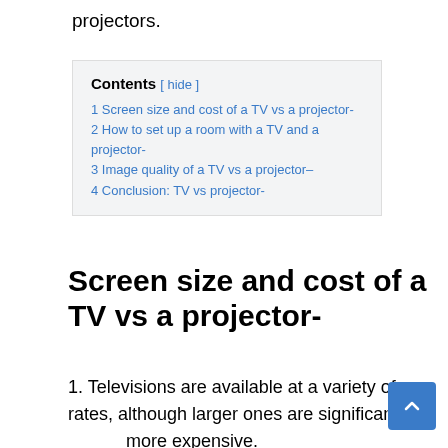projectors.
| Contents [ hide ] |
| 1 Screen size and cost of a TV vs a projector- |
| 2 How to set up a room with a TV and a projector- |
| 3 Image quality of a TV vs a projector– |
| 4 Conclusion: TV vs projector- |
Screen size and cost of a TV vs a projector-
1. Televisions are available at a variety of rates, although larger ones are significantly more expensive.